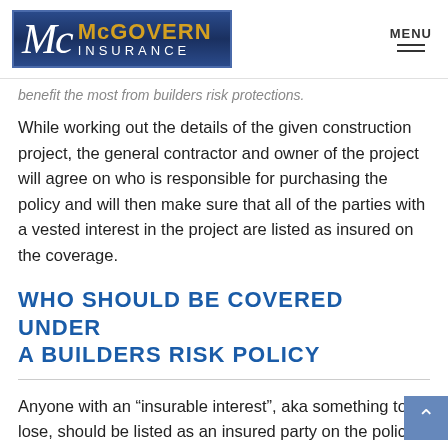McGovern Insurance | MENU
benefit the most from builders risk protections.
While working out the details of the given construction project, the general contractor and owner of the project will agree on who is responsible for purchasing the policy and will then make sure that all of the parties with a vested interest in the project are listed as insured on the coverage.
WHO SHOULD BE COVERED UNDER A BUILDERS RISK POLICY
Anyone with an “insurable interest”, aka something to lose, should be listed as an insured party on the policy.